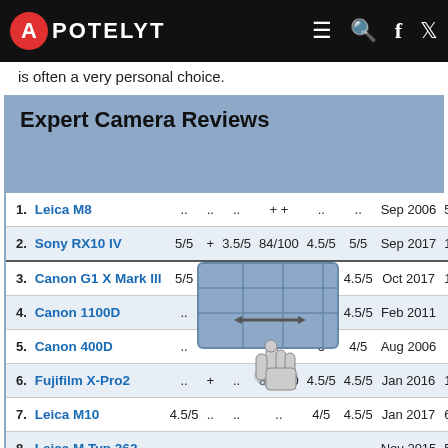APOTELYT
is often a very personal choice.
Expert Camera Reviews
| # | Camera |  | + |  | score |  |  | Date |  |
| --- | --- | --- | --- | --- | --- | --- | --- | --- | --- |
| 1. | Leica M8 | .. | .. | .. | ++ | .. | .. | Sep 2006 | 5, |
| 2. | Sony RX10 IV | 5/5 | + | 3.5/5 | 84/100 | 4.5/5 | 5/5 | Sep 2017 | 1, |
| 3. | Canon G1 X Mark III | 5/5 |  |  |  | 4.5/5 | 4.5/5 | Oct 2017 | 1, |
| 4. | Canon 1100D | .. | 4 |  |  | 4/5 | 4.5/5 | Feb 2011 |  |
| 5. | Canon 400D | .. |  |  |  | o | 4/5 | Aug 2006 |  |
| 6. | Fujifilm X-Pro2 | .. | + | .. | 83/100 | 4.5/5 | 4.5/5 | Jan 2016 | 1, |
| 7. | Leica M10 | 4.5/5 | .. | .. | .. | 4/5 | 4.5/5 | Jan 2017 | 6, |
| 8. | Leica M Typ 262 | .. | .. | .. | .. | .. | .. | Nov 2015 | 5, |
| 9. | Leica M9 |  |  |  |  | 4.5/5 |  | Sep 2009 | 7 |